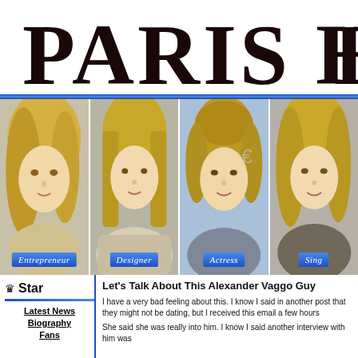[Figure (logo): Paris Hilton website logo — large serif text reading PARIS HI (cropped), black on white, with blue double underline]
[Figure (photo): Four side-by-side headshots of Paris Hilton with blue label badges: Entrepreneur, Designer, Actress, Singer (cropped)]
Star
Latest News
Biography
Fans
Let's Talk About This Alexander Vaggo Guy
I have a very bad feeling about this. I know I said in another post that they might not be dating, but I received this email a few hours
She said she was really into him. I know I said another interview with him was